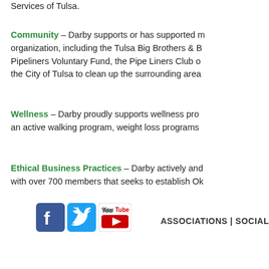Services of Tulsa.
Community – Darby supports or has supported many organization, including the Tulsa Big Brothers & Big Sisters, Pipeliners Voluntary Fund, the Pipe Liners Club of Tulsa, and the City of Tulsa to clean up the surrounding area
Wellness – Darby proudly supports wellness programs including an active walking program, weight loss programs
Ethical Business Practices – Darby actively and is a member with over 700 members that seeks to establish Ok
[Figure (logo): Facebook, Twitter, and YouTube social media icons]
ASSOCIATIONS | SOCIAL